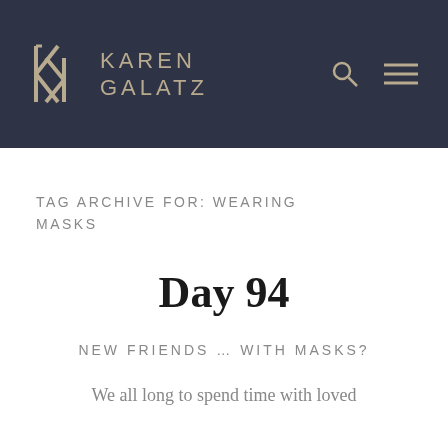KAREN GALATZ
TAG ARCHIVE FOR: WEARING MASKS
Day 94
NEW FRIENDS … WITH MASKS?
We all long to spend time with loved